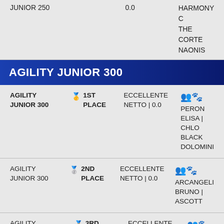| Event | Place | Score | Participant |
| --- | --- | --- | --- |
| JUNIOR 250 |  | 0.0 | HARMONY C
THE CORTE
NAONIS |
AGILITY JUNIOR 300
| Event | Place | Score | Participant |
| --- | --- | --- | --- |
| AGILITY JUNIOR 300 | 1ST PLACE | ECCELLENTE NETTO | 0.0 | PERON ELISA | CHLO BLACK DOLOMINI |
| AGILITY JUNIOR 300 | 2ND PLACE | ECCELLENTE NETTO | 0.0 | ARCANGELI BRUNO | ASCOTT |
| AGILITY JUNIOR 300 | 3RD PLACE | ECCELLENTE NETTO | 0.0 | CEBULE IRINA | VALTE |
|  |  |  | STOCC |